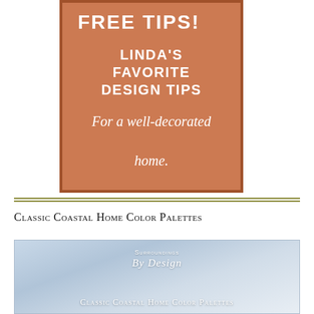[Figure (illustration): Orange-brown colored box with border containing text: FREE TIPS! (partially cropped at top), LINDA'S FAVORITE DESIGN TIPS in bold white uppercase, and italic text 'For a well-decorated home.' in white]
Classic Coastal Home Color Palettes
[Figure (illustration): Light blue/grey sky-toned image with text 'Surroundings By Design' at top center and 'Classic Coastal Home Color Palettes' partially visible at bottom]